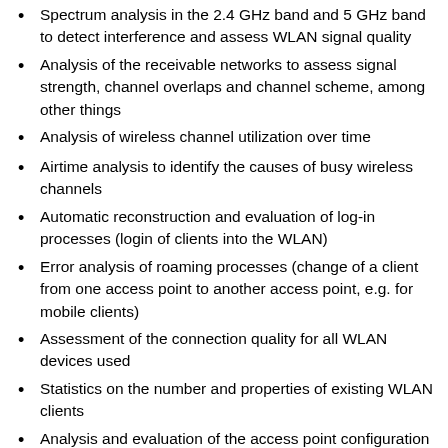Spectrum analysis in the 2.4 GHz band and 5 GHz band to detect interference and assess WLAN signal quality
Analysis of the receivable networks to assess signal strength, channel overlaps and channel scheme, among other things
Analysis of wireless channel utilization over time
Airtime analysis to identify the causes of busy wireless channels
Automatic reconstruction and evaluation of log-in processes (login of clients into the WLAN)
Error analysis of roaming processes (change of a client from one access point to another access point, e.g. for mobile clients)
Assessment of the connection quality for all WLAN devices used
Statistics on the number and properties of existing WLAN clients
Analysis and evaluation of the access point configuration